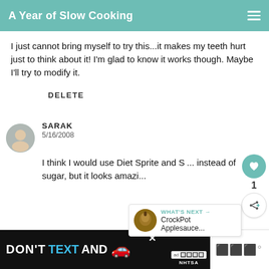A Year of Slow Cooking
I just cannot bring myself to try this...it makes my teeth hurt just to think about it! I'm glad to know it works though. Maybe I'll try to modify it.
DELETE
SARAK
5/16/2008
I think I would use Diet Sprite and S... instead of sugar, but it looks amazi...
[Figure (screenshot): DON'T TEXT AND [car emoji] advertisement banner with NHTSA logo]
[Figure (infographic): WHAT'S NEXT arrow with CrockPot Applesauce... thumbnail overlay]